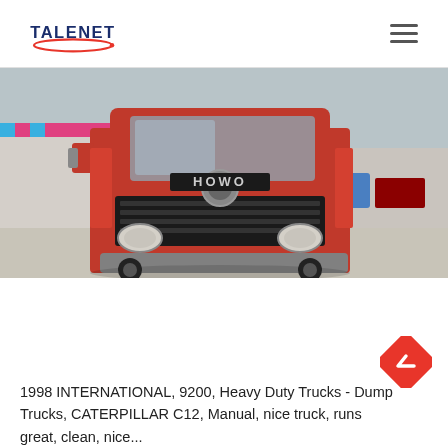TALENET
[Figure (photo): Front view of a red HOWO heavy duty truck parked in a yard, with other trucks and buildings visible in the background.]
1998 INTERNATIONAL, 9200, Heavy Duty Trucks - Dump Trucks, CATERPILLAR C12, Manual, nice truck, runs great, clean, nice...